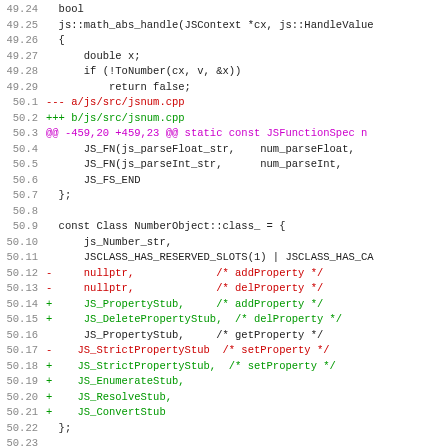[Figure (screenshot): Code diff view showing lines 49.24 through 50.26 of a C++ source file, with line numbers on the left, and syntax-highlighted diff content including red removed lines and green added lines.]